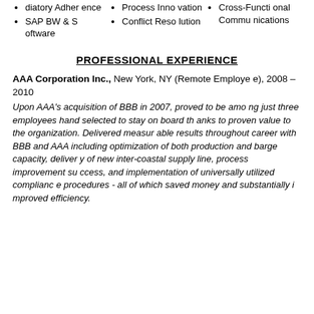diatory Adherence
SAP BW & Software
Process Innovation
Conflict Resolution
Cross-Functional Communications
PROFESSIONAL EXPERIENCE
AAA Corporation Inc., New York, NY (Remote Employee), 2008 – 2010
Upon AAA's acquisition of BBB in 2007, proved to be among just three employees hand selected to stay on board thanks to proven value to the organization. Delivered measurable results throughout career with BBB and AAA including optimization of both production and barge capacity, delivery of new inter-coastal supply line, process improvement success, and implementation of universally utilized compliance procedures - all of which saved money and substantially improved efficiency.